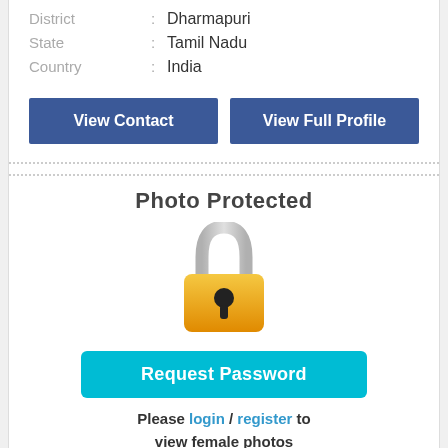District : Dharmapuri
State : Tamil Nadu
Country : India
[Figure (screenshot): Blue button labeled 'View Contact']
[Figure (screenshot): Blue button labeled 'View Full Profile']
Photo Protected
[Figure (illustration): Padlock icon - gray shackle on top of a yellow/orange lock body with a keyhole]
[Figure (screenshot): Cyan/teal button labeled 'Request Password']
Please login / register to view female photos
Matrimony ID: CHE000040 etc.